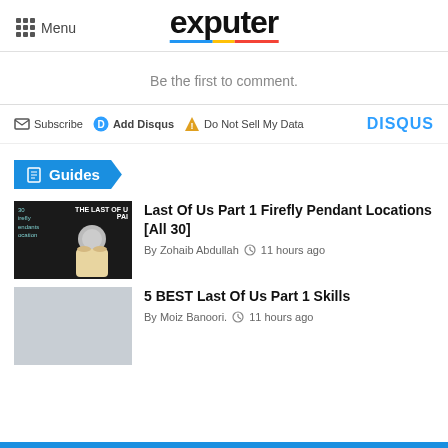Menu | exputer
Be the first to comment.
Subscribe  Add Disqus  Do Not Sell My Data  DISQUS
Guides
[Figure (photo): Thumbnail for Last Of Us Part 1 Firefly Pendant Locations article showing a hand holding a coin/pendant against a dark background]
Last Of Us Part 1 Firefly Pendant Locations [All 30]
By Zohaib Abdullah  11 hours ago
[Figure (photo): Grey placeholder thumbnail for 5 BEST Last Of Us Part 1 Skills article]
5 BEST Last Of Us Part 1 Skills
By Moiz Banoori.  11 hours ago